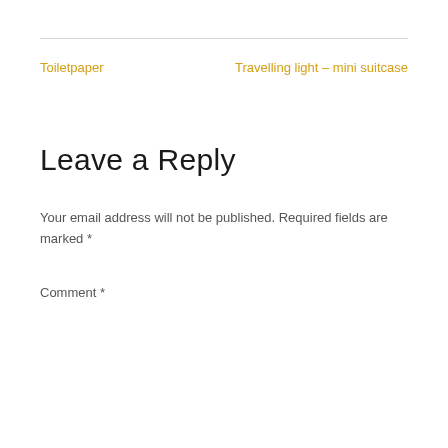Toiletpaper
Travelling light – mini suitcase
Leave a Reply
Your email address will not be published. Required fields are marked *
Comment *